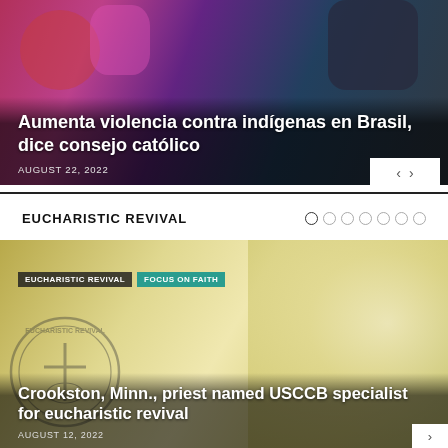[Figure (photo): Photo of indigenous people in colorful traditional attire at a gathering in Brazil]
Aumenta violencia contra indígenas en Brasil, dice consejo católico
AUGUST 22, 2022
EUCHARISTIC REVIVAL
[Figure (photo): Photo showing communion wafers and a Eucharistic Revival seal/logo, with tags 'EUCHARISTIC REVIVAL' and 'FOCUS ON FAITH']
Crookston, Minn., priest named USCCB specialist for eucharistic revival
AUGUST 12, 2022